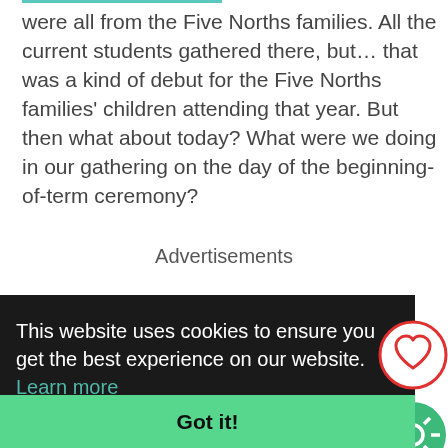were all from the Five Norths families. All the current students gathered there, but… that was a kind of debut for the Five Norths families' children attending that year. But then what about today? What were we doing in our gathering on the day of the beginning-of-term ceremony?
Advertisements
This website uses cookies to ensure you get the best experience on our website. Learn more
Got it!